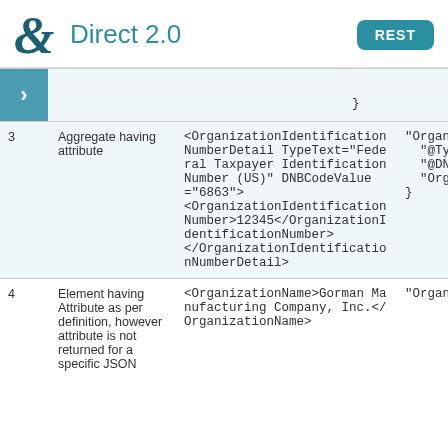Direct 2.0   REST
| # | Description | XML | JSON |
| --- | --- | --- | --- |
|  |  | } |  |
| 3 | Aggregate having attribute | <OrganizationIdentificationNumberDetail TypeText="Federal Taxpayer Identification Number (US)" DNBCodeValue="6863"><OrganizationIdentificationNumber>12345</OrganizationIdentificationNumber></OrganizationIdentificationNumberDetail> | "Organiza  "@Type  "@DNB  "Orga } |
| 4 | Element having Attribute as per definition, however attribute is not returned for a specific JSON | <OrganizationName>Gorman Manufacturing Company, Inc.</OrganizationName> | "Organiza |